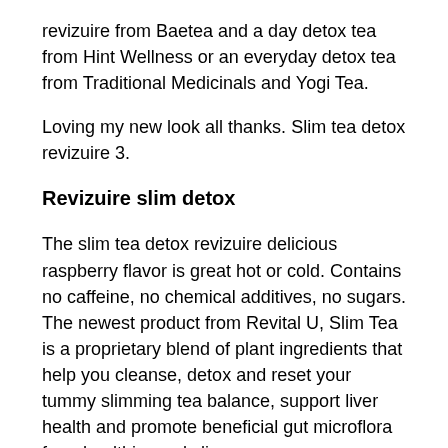revizuire from Baetea and a day detox tea from Hint Wellness or an everyday detox tea from Traditional Medicinals and Yogi Tea.
Loving my new look all thanks. Slim tea detox revizuire 3.
Revizuire slim detox
The slim tea detox revizuire delicious raspberry flavor is great hot or cold. Contains no caffeine, no chemical additives, no sugars. The newest product from Revital U, Slim Tea is a proprietary blend of plant ingredients that help you cleanse, detox and reset your tummy slimming tea balance, support liver health and promote beneficial gut microflora for a healthier and slimmer you.
While there are a ton of weight loss drinks available, such as slimming coffee, natural slimming tea offers a healthy alternative that can be used